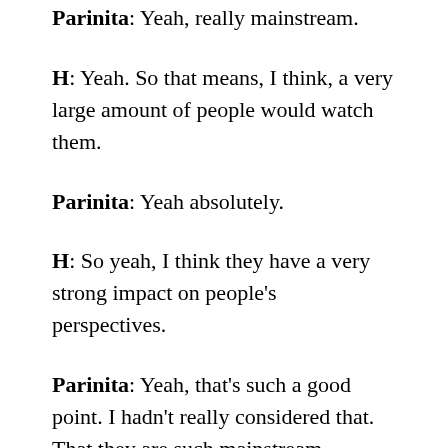Parinita: Yeah, really mainstream.
H: Yeah. So that means, I think, a very large amount of people would watch them.
Parinita: Yeah absolutely.
H: So yeah, I think they have a very strong impact on people's perspectives.
Parinita: Yeah, that's such a good point. I hadn't really considered that. That they are such mainstream productions. I thought about it with Crazy Rich Asians but I thought it became mainstream. Because one of the critiques is that at least in Hollywood, people don't cast Asian actors because they think that the movies then